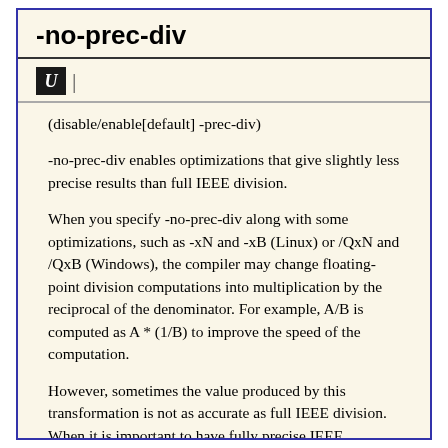-no-prec-div
[Figure (other): Icon: bold italic U letter in a dark box followed by a vertical pipe character]
(disable/enable[default] -prec-div)
-no-prec-div enables optimizations that give slightly less precise results than full IEEE division.
When you specify -no-prec-div along with some optimizations, such as -xN and -xB (Linux) or /QxN and /QxB (Windows), the compiler may change floating-point division computations into multiplication by the reciprocal of the denominator. For example, A/B is computed as A * (1/B) to improve the speed of the computation.
However, sometimes the value produced by this transformation is not as accurate as full IEEE division. When it is important to have fully precise IEEE